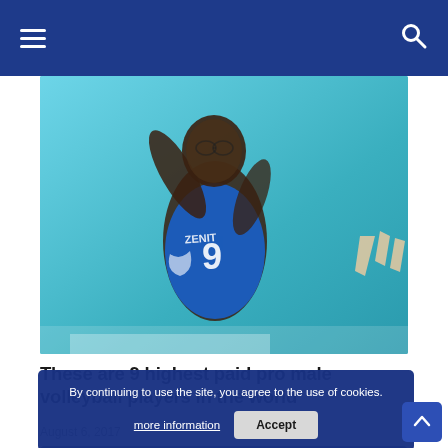Navigation header with menu and search icons
[Figure (photo): Volleyball player in blue jersey number 9 (ZENIT team) jumping to spike, with teal background and another player's raised hands visible on right]
These are 9 highest paid pro male volleyball players in the world
August 6, 2017
[Figure (photo): Partial bottom card showing related article: OLYMPIC - Tandara suspended for potential violation of anti-doping rules, ends - with number 2 and a volleyball player image]
By continuing to use the site, you agree to the use of cookies. more information Accept